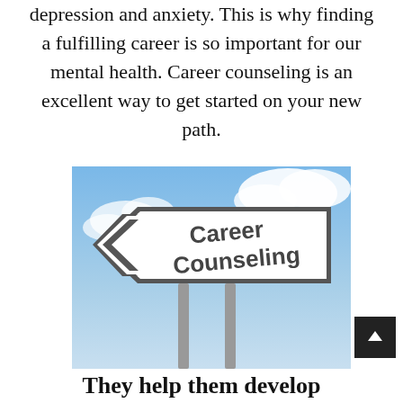depression and anxiety. This is why finding a fulfilling career is so important for our mental health. Career counseling is an excellent way to get started on your new path.
[Figure (photo): A directional road sign on metal poles pointing left with the text 'Career Counseling' written on it, against a blue sky with clouds background.]
They help them develop